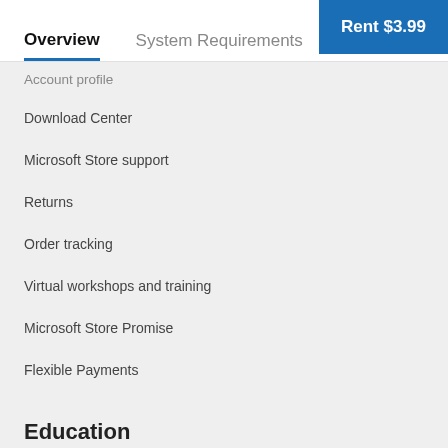Rent $3.99
Overview  System Requirements  Related
Account profile
Download Center
Microsoft Store support
Returns
Order tracking
Virtual workshops and training
Microsoft Store Promise
Flexible Payments
Education
Microsoft in education
Devices for education